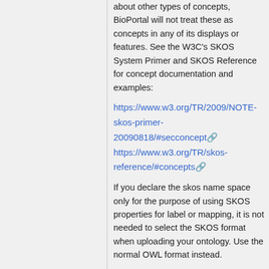about other types of concepts, BioPortal will not treat these as concepts in any of its displays or features. See the W3C's SKOS System Primer and SKOS Reference for concept documentation and examples:
https://www.w3.org/TR/2009/NOTE-skos-primer-20090818/#secconcept
https://www.w3.org/TR/skos-reference/#concepts
If you declare the skos name space only for the purpose of using SKOS properties for label or mapping, it is not needed to select the SKOS format when uploading your ontology. Use the normal OWL format instead.
skos:ConceptScheme & skos:hasTopConcept
For every ontology entry in BioPortal, the